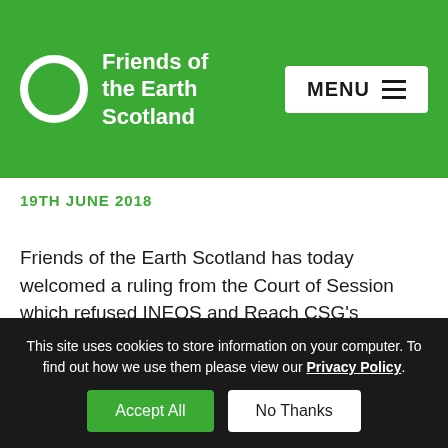Friends of the Earth Scotland
19TH JUNE 2018
Friends of the Earth Scotland has today welcomed a ruling from the Court of Session which refused INEOS and Reach CSG’s challenge against the Scottish Government’s ‘effective ban’ on fracking. Lord Pentland found in favour of the arguments put forward by the Scottish Government that its ‘preferred policy position’ of no support for fracking
This site uses cookies to store information on your computer. To find out how we use them please view our Privacy Policy.